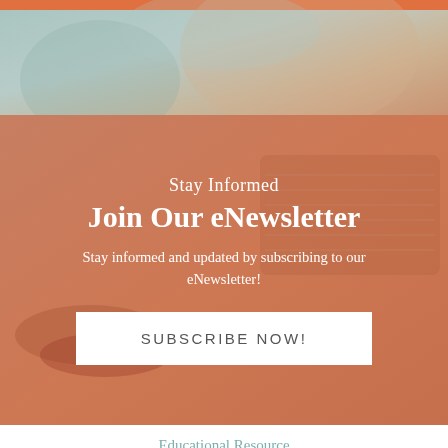[Figure (photo): Top photo area showing a blurred background with a person, teal/mint and warm tones, with an orange bar at the very top]
Stay Informed
Join Our eNewsletter
Stay informed and updated by subscribing to our eNewsletter!
SUBSCRIBE NOW!
Educational Resource
Order a Copy of "7 Gifts for a Lasting